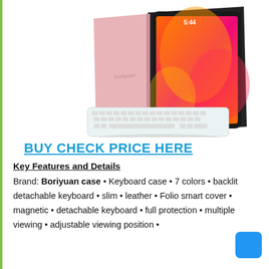[Figure (photo): Product photo of an iPad with a pink rose gold folio keyboard case open at an angle, showing the iPad screen with time 5:44, and a white backlit Bluetooth keyboard attached in front.]
BUY CHECK PRICE HERE
Key Features and Details
Brand: Boriyuan case • Keyboard case • 7 colors • backlit detachable keyboard • slim • leather • Folio smart cover • magnetic • detachable keyboard • full protection • multiple viewing • adjustable viewing position •